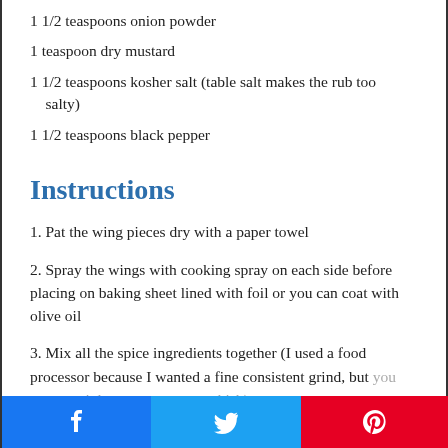1 1/2 teaspoons onion powder
1 teaspoon dry mustard
1 1/2 teaspoons kosher salt (table salt makes the rub too salty)
1 1/2 teaspoons black pepper
Instructions
1. Pat the wing pieces dry with a paper towel
2. Spray the wings with cooking spray on each side before placing on baking sheet lined with foil or you can coat with olive oil
3. Mix all the spice ingredients together (I used a food processor because I wanted a fine consistent grind, but you can certainly use a spoon or whisk)